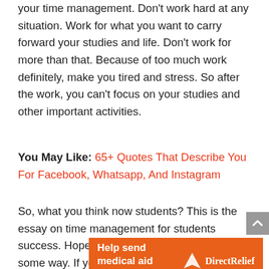your time management. Don't work hard at any situation. Work for what you want to carry forward your studies and life. Don't work for more than that. Because of too much work definitely, make you tired and stress. So after the work, you can't focus on your studies and other important activities.
You May Like: 65+ Quotes That Describe You For Facebook, Whatsapp, And Instagram
So, what you think now students? This is the essay on time management for students success. Hopefully, this essay helps you in some way. If you
[Figure (infographic): Orange advertisement banner for Direct Relief charity: 'Help send medical aid to Ukraine >>' with Direct Relief logo on the right.]